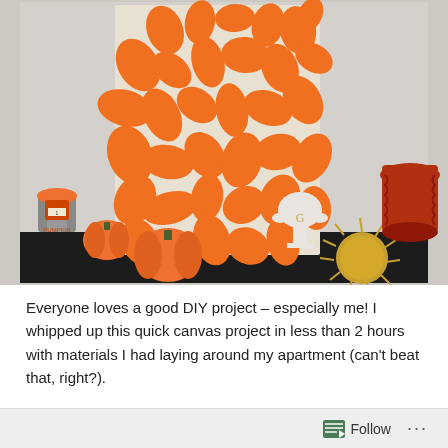[Figure (photo): A fall/autumn themed decorative vignette on a dark shelf. A large white canvas with orange leaf silhouettes in various shapes is in the center-back. On the shelf: a small orange pumpkin candle jar with a label, a medium orange pumpkin, a white trophy cup with a 'G' monogram, a large dark red/orange ceramic vase, and a gold spiky decorative ball. The wall behind is light gray/beige.]
Everyone loves a good DIY project – especially me! I whipped up this quick canvas project in less than 2 hours with materials I had laying around my apartment (can't beat that, right?).
Supplies
Follow ···